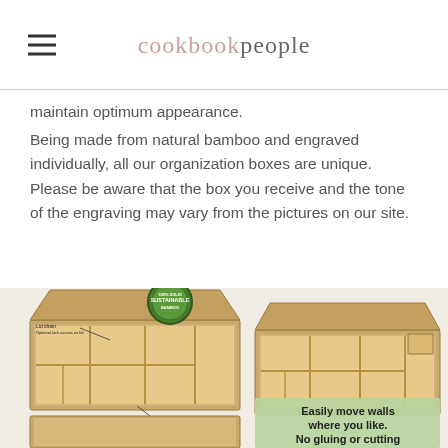cookbook people
maintain optimum appearance.
Being made from natural bamboo and engraved individually, all our organization boxes are unique. Please be aware that the box you receive and the tone of the engraving may vary from the pictures on our site.
[Figure (photo): Two bamboo organization boxes shown open with dividers, one with a '100% Solid Sustainable Bamboo' seal, labels pointing to lid chain and latching lid and extra-sturdy dovetail joints. Green overlay text reads 'Easily move walls where you like. No gluing or cutting']